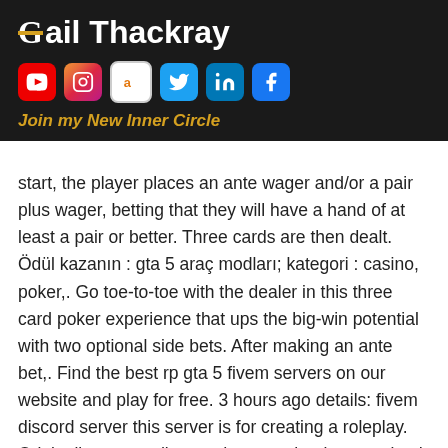[Figure (logo): Gail Thackray logo with social media icons (YouTube, Instagram, Amazon, Twitter, LinkedIn, Facebook) and 'Join my New Inner Circle' text on dark background]
no er. t e card elf,. To start, the player places an ante wager and/or a pair plus wager, betting that they will have a hand of at least a pair or better. Three cards are then dealt. Ödül kazanın : gta 5 araç modları; kategori : casino, poker,. Go toe-to-toe with the dealer in this three card poker experience that ups the big-win potential with two optional side bets. After making an ante bet,. Find the best rp gta 5 fivem servers on our website and play for free. 3 hours ago details: fivem discord server this server is for creating a roleplay. Originally surrounding card games that later evolved into the
Which penny slots have